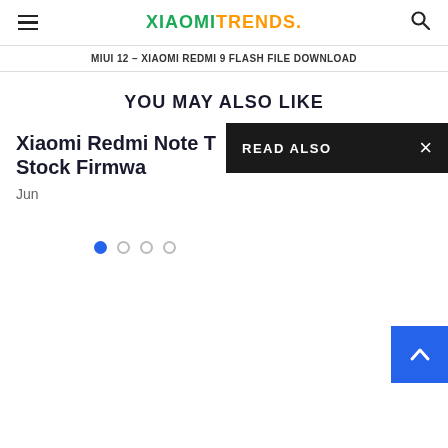XIAOMITRENDS.
MIUI 12 – Xiaomi Redmi 9 Flash File Download
YOU MAY ALSO LIKE
Xiaomi Redmi Note T Stock Firmwa
Jun
[Figure (other): READ ALSO panel overlay with close button (×) on dark background]
[Figure (other): Back to top arrow button in blue]